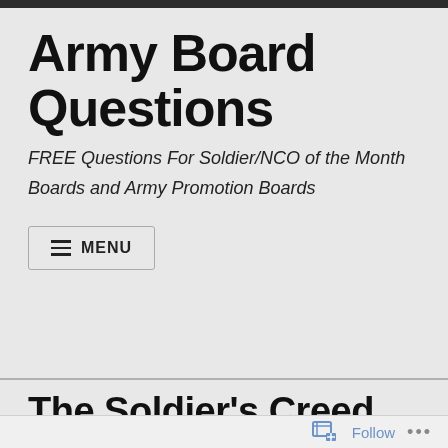Army Board Questions
FREE Questions For Soldier/NCO of the Month Boards and Army Promotion Boards
[Figure (other): Menu button with hamburger icon and MENU label]
The Soldier’s Creed
Follow ...